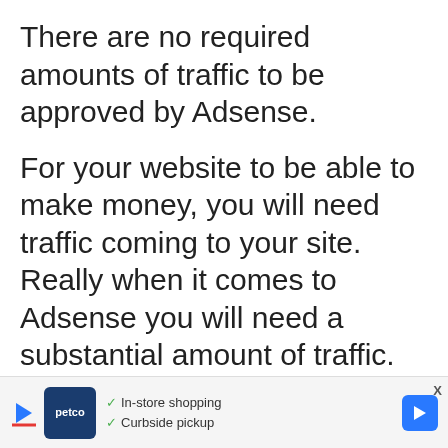There are no required amounts of traffic to be approved by Adsense.
For your website to be able to make money, you will need traffic coming to your site. Really when it comes to Adsense you will need a substantial amount of traffic.
For any blogger looking to grow there website you should work on SEO techniques and also consider using social media platforms to